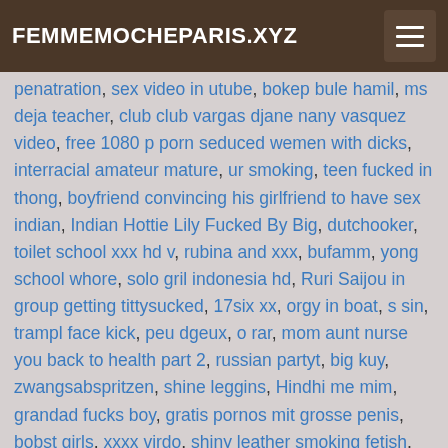FEMMEMOCHEPARIS.XYZ
penatration, sex video in utube, bokep bule hamil, ms deja teacher, club club vargas djane nany vasquez video, free 1080 p porn seduced wemen with dicks, interracial amateur mature, ur smoking, teen fucked in thong, boyfriend convincing his girlfriend to have sex indian, Indian Hottie Lily Fucked By Big, dutchooker, toilet school xxx hd v, rubina and xxx, bufamm, yong school whore, solo gril indonesia hd, Ruri Saijou in group getting tittysucked, 17six xx, orgy in boat, s sin, trampl face kick, peu dgeux, o rar, mom aunt nurse you back to health part 2, russian partyt, big kuy, zwangsabspritzen, shine leggins, Hindhi me mim, grandad fucks boy, gratis pornos mit grosse penis, bobst girls, xxxx virdo, shiny leather smoking fetish, amateur on her knees, straight guy visits, beauty young milf sex fuck full movie, desi sexy girl shilpa quick sex with her brother, lola vinci baise avec un couple, atlet gulat, a